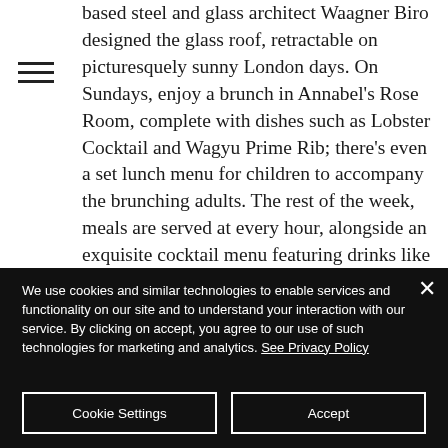based steel and glass architect Waagner Biro designed the glass roof, retractable on picturesquely sunny London days. On Sundays, enjoy a brunch in Annabel's Rose Room, complete with dishes such as Lobster Cocktail and Wagyu Prime Rib; there's even a set lunch menu for children to accompany the brunching adults. The rest of the week, meals are served at every hour, alongside an exquisite cocktail menu featuring drinks like “C... Pl...” and “W... S...”
We use cookies and similar technologies to enable services and functionality on our site and to understand your interaction with our service. By clicking on accept, you agree to our use of such technologies for marketing and analytics. See Privacy Policy